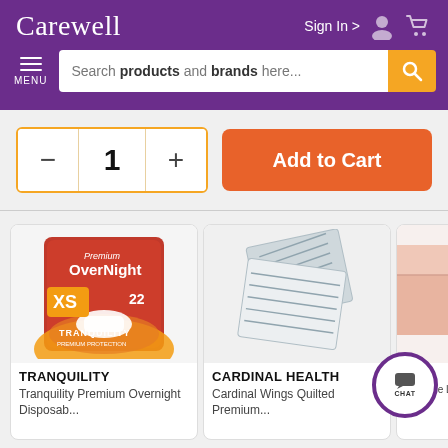Carewell — Sign In
Search products and brands here...
- 1 + Add to Cart
[Figure (photo): Tranquility Premium OverNight XS 22 count adult briefs package in orange and white]
TRANQUILITY
Tranquility Premium Overnight Disposab...
[Figure (photo): Cardinal Health Cardinal Wings Quilted Premium underpads in grey packaging]
CARDINAL HEALTH
Cardinal Wings Quilted Premium...
[Figure (photo): Partial view of a pink/salmon colored reusable underpad or sheet]
CL
Reusable L